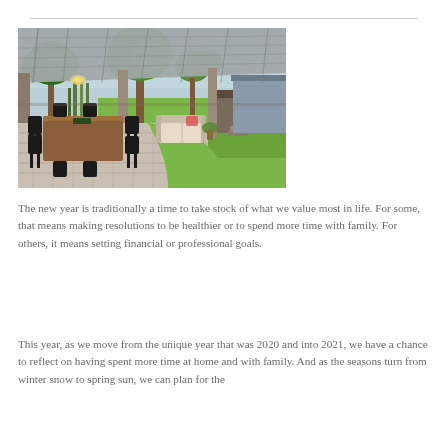[Figure (photo): Outdoor backyard area with a large covered patio/pergola featuring a wooden dining table and black chairs on a brick paved area, with lush green lawn, trees, a couch seating area, and a small wooden treehouse/playhouse visible in the background.]
The new year is traditionally a time to take stock of what we value most in life. For some, that means making resolutions to be healthier or to spend more time with family. For others, it means setting financial or professional goals.
This year, as we move from the unique year that was 2020 and into 2021, we have a chance to reflect on having spent more time at home and with family. And as the seasons turn from winter snow to spring sun, we can plan for the...